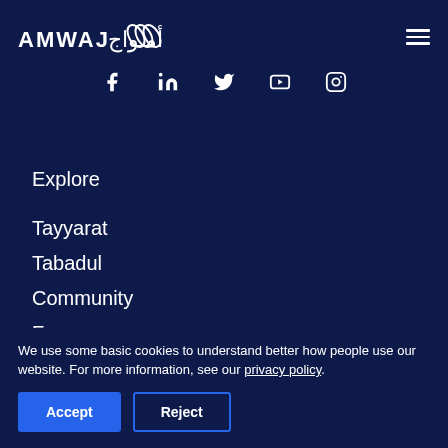AMWAJ أمـواج — navigation header with logo and hamburger menu
[Figure (infographic): Social media icons row: Facebook, LinkedIn, Twitter, YouTube, Instagram]
Explore
Tayyarat
Tabadul
Community
Forums
We use some basic cookies to understand better how people use our website. For more information, see our privacy policy.
Accept | Reject